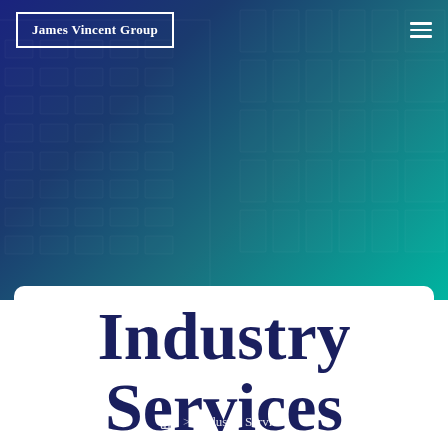James Vincent Group
Home > Industry Services
Industry Services